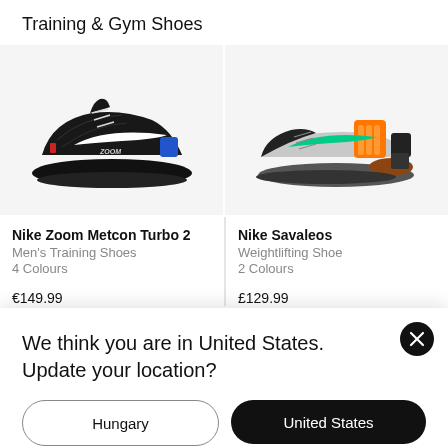Training & Gym Shoes
[Figure (photo): Nike Zoom Metcon Turbo 2 training shoe in black and blue colorway on grey background]
[Figure (photo): Nike Savaleos weightlifting shoe in grey with green swoosh and orange strap on white background]
Nike Zoom Metcon Turbo 2
Men's Training Shoes
4 Colours
€149.99
Nike Savaleos
Weightlifting Shoe
2 Colours
£129.99
We think you are in United States. Update your location?
Hungary
United States